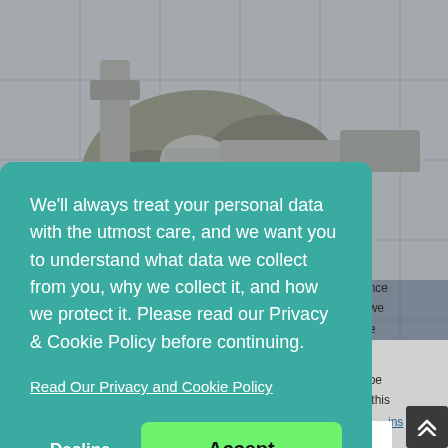[Figure (photo): Close-up photo of a person wearing blue work clothes and grey gloves, working with PVC pipe fittings — a plumber or engineer assembling pipes]
We'll always treat your personal data with the utmost care, and we want you to understand what data we collect from you, why we collect it, and how we protect it. Please read our Privacy & Cookie Policy before continuing.
Read Our Privacy and Cookie Policy
Decline
Accept
Norfolk specialists have the very best resources available, to